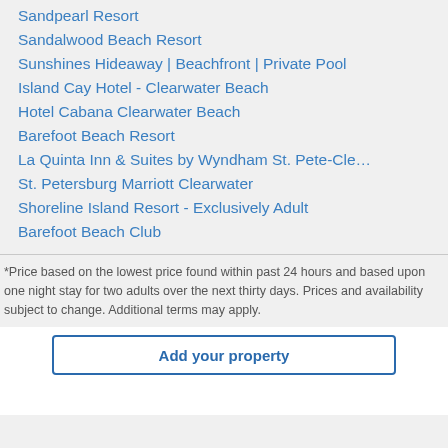Sandpearl Resort
Sandalwood Beach Resort
Sunshines Hideaway | Beachfront | Private Pool
Island Cay Hotel - Clearwater Beach
Hotel Cabana Clearwater Beach
Barefoot Beach Resort
La Quinta Inn & Suites by Wyndham St. Pete-Cle…
St. Petersburg Marriott Clearwater
Shoreline Island Resort - Exclusively Adult
Barefoot Beach Club
*Price based on the lowest price found within past 24 hours and based upon one night stay for two adults over the next thirty days. Prices and availability subject to change. Additional terms may apply.
Add your property